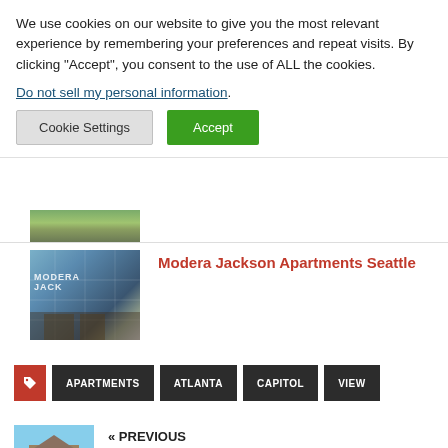We use cookies on our website to give you the most relevant experience by remembering your preferences and repeat visits. By clicking “Accept”, you consent to the use of ALL the cookies.
Do not sell my personal information.
Cookie Settings | Accept
[Figure (photo): Partial view of a building exterior with greenery at the bottom]
[Figure (photo): Modera Jackson apartment building exterior, glass and modern facade]
Modera Jackson Apartments Seattle
APARTMENTS | ATLANTA | CAPITOL | VIEW
« PREVIOUS
Bell View Apartments Green Bay Wi
[Figure (photo): Exterior photo of Bell View Apartments, brick building with blue sky]